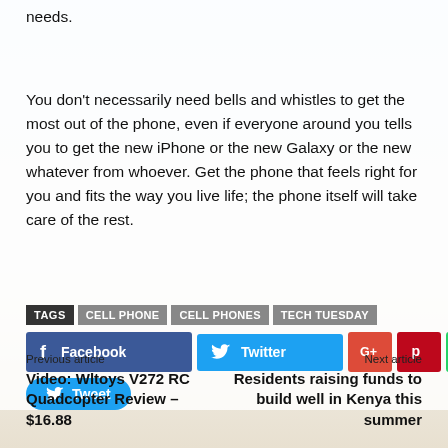needs.
You don't necessarily need bells and whistles to get the most out of the phone, even if everyone around you tells you to get the new iPhone or the new Galaxy or the new whatever from whoever. Get the phone that feels right for you and fits the way you live life; the phone itself will take care of the rest.
TAGS  CELL PHONE  CELL PHONES  TECH TUESDAY
[Figure (infographic): Social sharing buttons: Facebook, Twitter, Google+, Pinterest, WhatsApp, Tweet]
Previous article
Video: Wltoys V272 RC Quadcopter Review – $16.88
Next article
Residents raising funds to build well in Kenya this summer